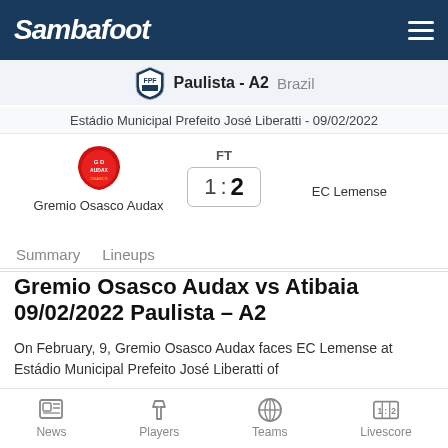Sambafoot
Paulista - A2  Brazil
Estádio Municipal Prefeito José Liberatti - 09/02/2022
FT  1 : 2  Gremio Osasco Audax  EC Lemense
Summary  Lineups
Gremio Osasco Audax vs Atibaia 09/02/2022 Paulista – A2
On February, 9, Gremio Osasco Audax faces EC Lemense at Estádio Municipal Prefeito José Liberatti of
News  Players  Teams  Livescore